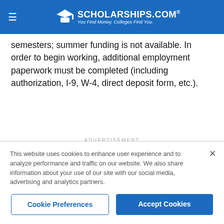SCHOLARSHIPS.COM® — You Find Money. Colleges Find You.
semesters; summer funding is not available. In order to begin working, additional employment paperwork must be completed (including authorization, I-9, W-4, direct deposit form, etc.).
ADVERTISEMENT
This website uses cookies to enhance user experience and to analyze performance and traffic on our website. We also share information about your use of our site with our social media, advertising and analytics partners.
Cookie Preferences
Accept Cookies